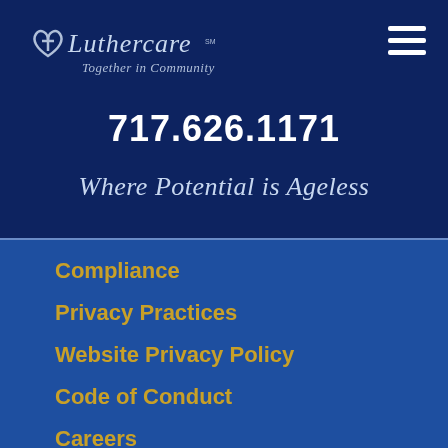[Figure (logo): Luthercare logo with heart and cross icon, text 'Luthercare' in script font, tagline 'Together in Community' below]
717.626.1171
Where Potential is Ageless
Compliance
Privacy Practices
Website Privacy Policy
Code of Conduct
Careers